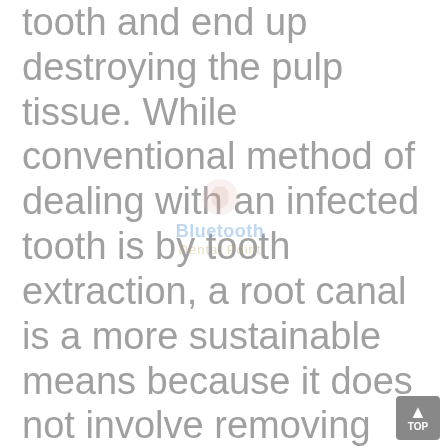tooth and end up destroying the pulp tissue. While conventional method of dealing with an infected tooth is by tooth extraction, a root canal is a more sustainable means because it does not involve removing the affected tooth. The root canals of the teeth are comprised of nerves as well as blood vessels. When